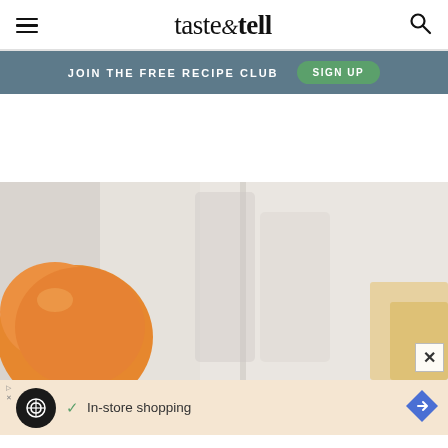taste & tell
JOIN THE FREE RECIPE CLUB   SIGN UP
[Figure (photo): Close-up food photo showing an orange/tangerine fruit on the left and blurred glass containers with orange juice in the background, soft light grey and white tones]
In-store shopping